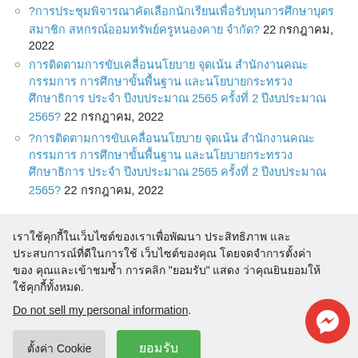?การประชุมพิจารณาคัดเลือกนักเรียนเพื่อรับทุนการศึกษาบุตรสมาชิกสหกรณ์ออมทรัพย์ครูหนองคาย จำกัด? 22 กรกฎาคม, 2022
การติดตามการขับเคลื่อนนโยบาย จุดเน้น สำนักงานคณะกรรมการการศึกษาขั้นพื้นฐาน และนโยบายกระทรวงศึกษาธิการ ประจำปีงบประมาณ 2565 ครั้งที่ 2 ปีงบประมาณ 2565? 22 กรกฎาคม, 2022
?การติดตามการขับเคลื่อนนโยบาย จุดเน้น สำนักงานคณะกรรมการการศึกษาขั้นพื้นฐาน และนโยบายกระทรวงศึกษาธิการ ประจำปีงบประมาณ 2565 ครั้งที่ 2 ปีงบประมาณ 2565? 22 กรกฎาคม, 2022
เราใช้คุกกี้ในเว็บไซต์ของเราเพื่อพัฒนาประสิทธิภาพ และประสบการณ์ที่ดีในการใช้เว็บไซต์ของคุณ โดยจดจำการตั้งค่าของคุณและเข้าชมซ้ำ การคลิก "ยอมรับ" แสดงว่าคุณยินยอมให้ใช้คุกกี้ทั้งหมด.
Do not sell my personal information.